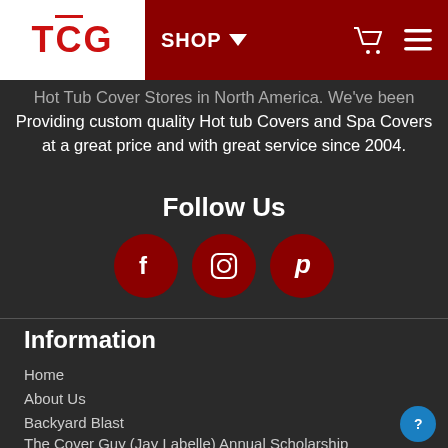TCG — SHOP navigation bar with cart and menu icons
Hot Tub Cover Stores in North America. We've been Providing custom quality Hot tub Covers and Spa Covers at a great price and with great service since 2004.
Follow Us
[Figure (infographic): Three dark red circular social media icons: Facebook (f), Instagram (camera), Pinterest (P)]
Information
Home
About Us
Backyard Blast
The Cover Guy (Jay Labelle) Annual Scholarship